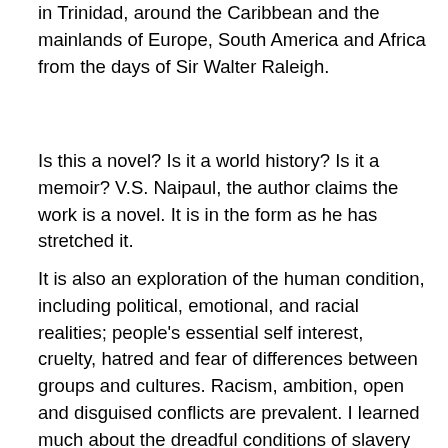in Trinidad, around the Caribbean and the mainlands of Europe, South America and Africa from the days of Sir Walter Raleigh.
Is this a novel? Is it a world history? Is it a memoir? V.S. Naipaul, the author claims the work is a novel. It is in the form as he has stretched it.
It is also an exploration of the human condition, including political, emotional, and racial realities; people's essential self interest, cruelty, hatred and fear of differences between groups and cultures. Racism, ambition, open and disguised conflicts are prevalent. I learned much about the dreadful conditions of slavery in the colonial and post-colonial Caribbean. The consequences of political emancipation in Africa are portrayed in the last chapter of this sequence of linked narratives.